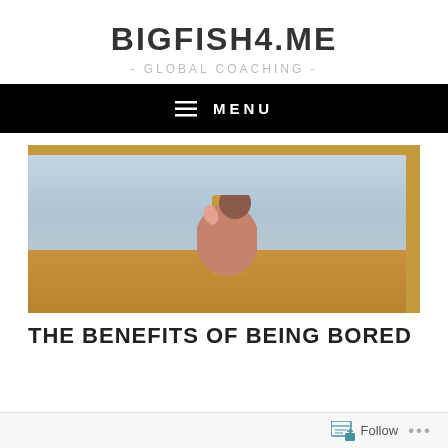BIGFISH4.ME - GLOBAL COACHING -
MENU
[Figure (photo): A person seen from behind sitting on a yellow/orange chair, looking out a large window at a grey water/sky view, wearing a salmon/brown top]
THE BENEFITS OF BEING BORED
Follow ...